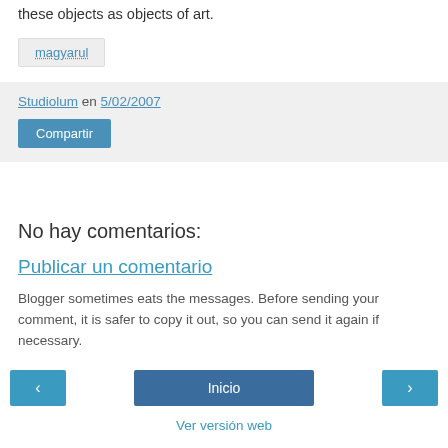these objects as objects of art.
magyarul
Studiolum en 5/02/2007
Compartir
No hay comentarios:
Publicar un comentario
Blogger sometimes eats the messages. Before sending your comment, it is safer to copy it out, so you can send it again if necessary.
‹
Inicio
›
Ver versión web